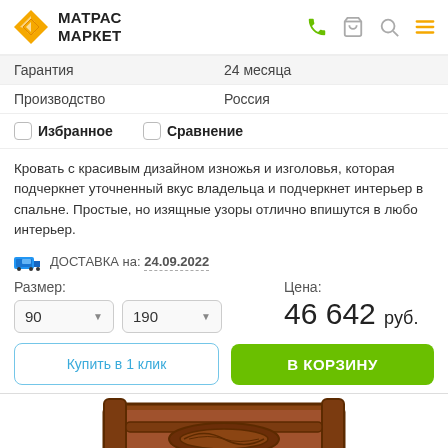МАТРАС МАРКЕТ
|  |  |
| --- | --- |
| Гарантия | 24 месяца |
| Производство | Россия |
Избранное   Сравнение
Кровать с красивым дизайном изножья и изголовья, которая подчеркнет уточненный вкус владельца и подчеркнет интерьер в спальне. Простые, но изящные узоры отлично впишутся в любо интерьер.
ДОСТАВКА на: 24.09.2022
Размер: 90  190
Цена: 46 642 руб.
Купить в 1 клик
В КОРЗИНУ
[Figure (photo): Partial view of a wooden bed headboard with decorative carved oval pattern, brown color]